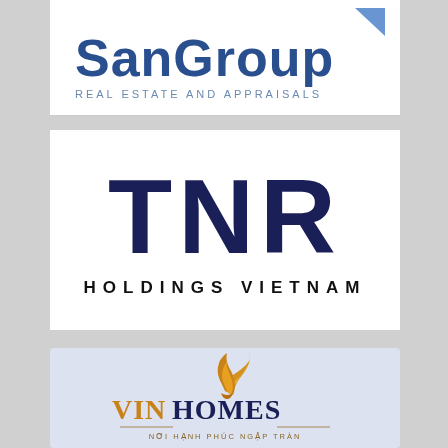[Figure (logo): SanGroup Real Estate and Appraisals logo — bold blue stylized text 'SanGroup' with tagline 'REAL ESTATE AND APPRAISALS' in spaced gray-blue caps below]
[Figure (logo): TNR Holdings Vietnam logo — large dark navy bold letters 'TNR' above 'HOLDINGS VIETNAM' in spaced black caps on white background]
[Figure (logo): VinHomes logo — golden flame/bird icon above 'VINHOMES' in gold and dark navy lettering with tagline 'NƠI HẠNH PHÚC NGẬP TRÀN' on light blue background]